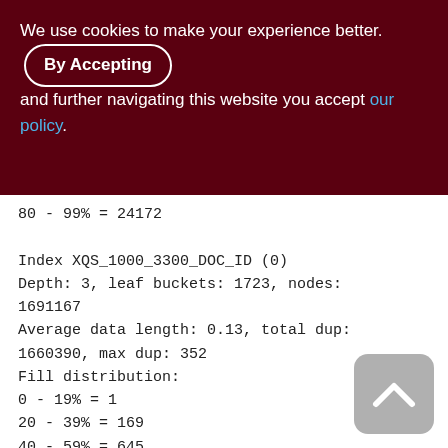We use cookies to make your experience better. By Accepting and further navigating this website you accept our policy.
80 - 99% = 24172

Index XQS_1000_3300_DOC_ID (0)
Depth: 3, leaf buckets: 1723, nodes: 1691167
Average data length: 0.13, total dup: 1660390, max dup: 352
Fill distribution:
0 - 19% = 1
20 - 39% = 169
40 - 59% = 645
60 - 79% = 633
80 - 99% = 275